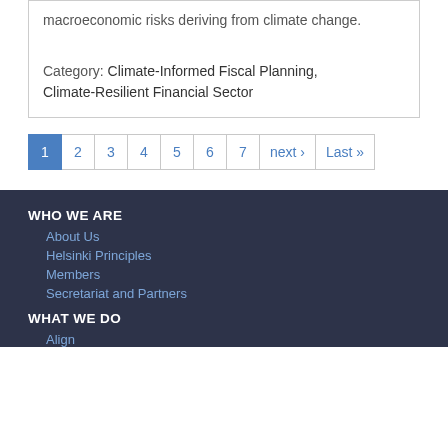macroeconomic risks deriving from climate change.
Category:  Climate-Informed Fiscal Planning, Climate-Resilient Financial Sector
1 2 3 4 5 6 7 next › Last »
WHO WE ARE
About Us
Helsinki Principles
Members
Secretariat and Partners
WHAT WE DO
Align